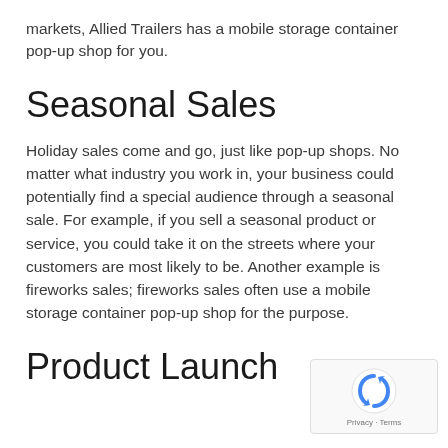markets, Allied Trailers has a mobile storage container pop-up shop for you.
Seasonal Sales
Holiday sales come and go, just like pop-up shops. No matter what industry you work in, your business could potentially find a special audience through a seasonal sale. For example, if you sell a seasonal product or service, you could take it on the streets where your customers are most likely to be. Another example is fireworks sales; fireworks sales often use a mobile storage container pop-up shop for the purpose.
Product Launch